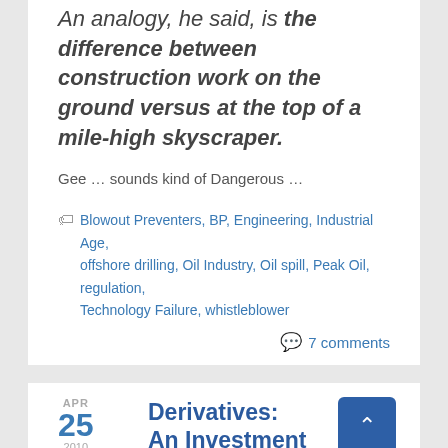An analogy, he said, is the difference between construction work on the ground versus at the top of a mile-high skyscraper.
Gee … sounds kind of Dangerous …
Blowout Preventers, BP, Engineering, Industrial Age, offshore drilling, Oil Industry, Oil spill, Peak Oil, regulation, Technology Failure, whistleblower
7 comments
APR 25 2010
Derivatives: An Investment Nothing!
By Jeremy in Economy